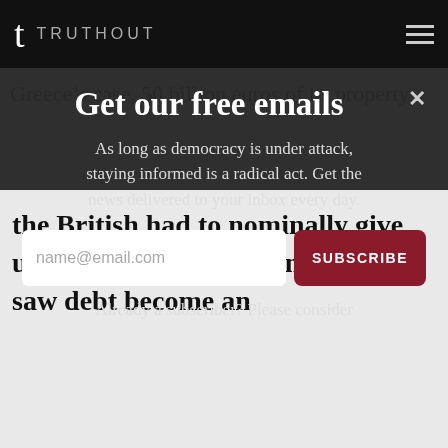t TRUTHOUT
Greece’s case, 50 billion euros of its property,
Get our free emails
As long as democracy is under attack, staying informed is a radical act. Get the news delivered to your inbox every day.
name@email.com
SUBSCRIBE
Already a subscriber? Please consider
the British had to nominally give up control of their colonies. You saw debt become an